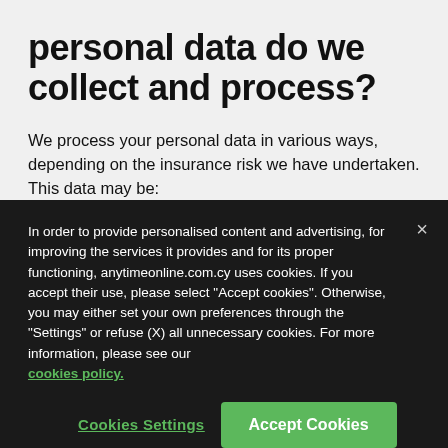personal data do we collect and process?
We process your personal data in various ways, depending on the insurance risk we have undertaken. This data may be:
In order to provide personalised content and advertising, for improving the services it provides and for its proper functioning, anytimeonline.com.cy uses cookies. If you accept their use, please select “Accept cookies”. Otherwise, you may either set your own preferences through the “Settings” or refuse (X) all unnecessary cookies. For more information, please see our cookies policy.
Cookies Settings
Accept Cookies